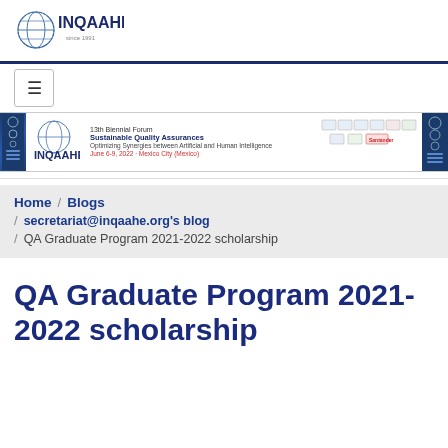[Figure (logo): INQAAHE logo with globe graphic and 'since 1991' text]
[Figure (infographic): 13th Biennial Forum banner: Sustainable Quality Assurances, Optimizing Synergies between Artificial and Human Intelligence, June 6-9, 2022 - Mexico City (Mexico), with INQAAHE logo and partner organization logos]
Home / Blogs / secretariat@inqaahe.org's blog / QA Graduate Program 2021-2022 scholarship
QA Graduate Program 2021-2022 scholarship